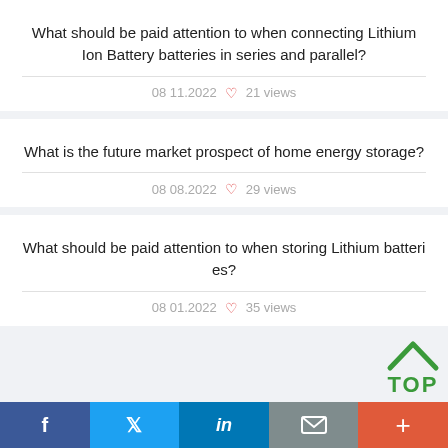What should be paid attention to when connecting Lithium Ion Battery batteries in series and parallel?
08 11.2022  ♡ 21 views
What is the future market prospect of home energy storage?
08 08.2022  ♡ 29 views
What should be paid attention to when storing Lithium batteries?
08 01.2022  ♡ 35 views